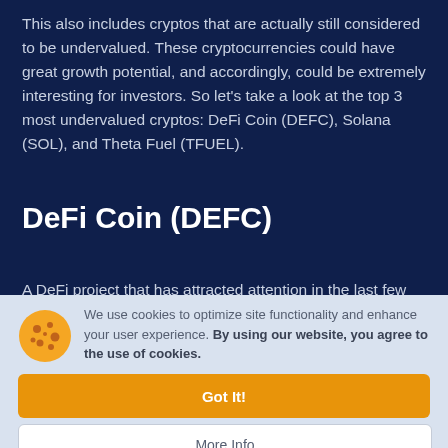This also includes cryptos that are actually still considered to be undervalued. These cryptocurrencies could have great growth potential, and accordingly, could be extremely interesting for investors. So let's take a look at the top 3 most undervalued cryptos: DeFi Coin (DEFC), Solana (SOL), and Theta Fuel (TFUEL).
DeFi Coin (DEFC)
A DeFi project that has attracted attention in the last few
We use cookies to optimize site functionality and enhance your user experience. By using our website, you agree to the use of cookies.
Got It!
More Info